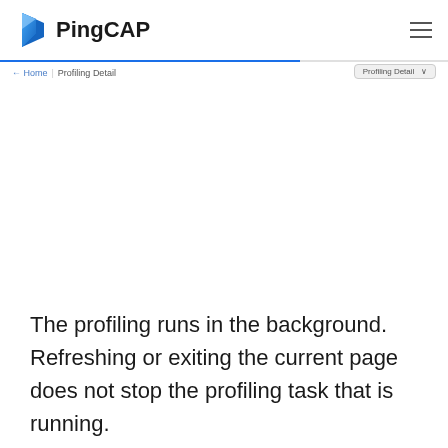PingCAP
← Home   Profiling Detail
The profiling runs in the background. Refreshing or exiting the current page does not stop the profiling task that is running.